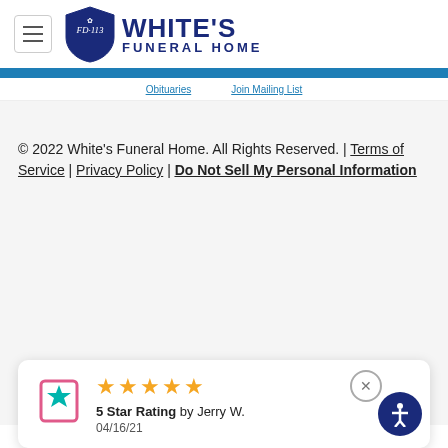[Figure (logo): White's Funeral Home logo with shield emblem and FD-113 text]
Navigation links bar with two menu items
© 2022 White's Funeral Home. All Rights Reserved. | Terms of Service | Privacy Policy | Do Not Sell My Personal Information
[Figure (infographic): Review card showing 5 Star Rating by Jerry W. on 04/16/21 with 5 gold stars and a review icon]